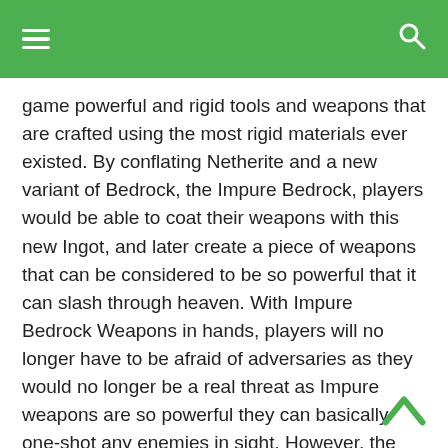☰  🔍
game powerful and rigid tools and weapons that are crafted using the most rigid materials ever existed. By conflating Netherite and a new variant of Bedrock, the Impure Bedrock, players would be able to coat their weapons with this new Ingot, and later create a piece of weapons that can be considered to be so powerful that it can slash through heaven. With Impure Bedrock Weapons in hands, players will no longer have to be afraid of adversaries as they would no longer be a real threat as Impure weapons are so powerful they can basically one-shot any enemies in sight. However, the cost of making these Impure Tools can be exorbitant, therefore, players should be ready to put everything on the line.